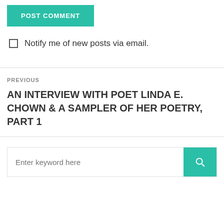POST COMMENT
Notify me of new posts via email.
PREVIOUS
AN INTERVIEW WITH POET LINDA E. CHOWN & A SAMPLER OF HER POETRY, PART 1
Enter keyword here